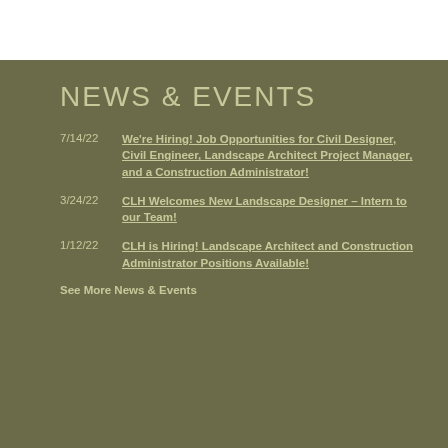NEWS & EVENTS
7/14/22  We're Hiring! Job Opportunities for Civil Designer, Civil Engineer, Landscape Architect Project Manager, and a Construction Administrator!
3/24/22  CLH Welcomes New Landscape Designer – Intern to our Team!
1/12/22  CLH is Hiring! Landscape Architect and Construction Administrator Positions Available!
See More News & Events